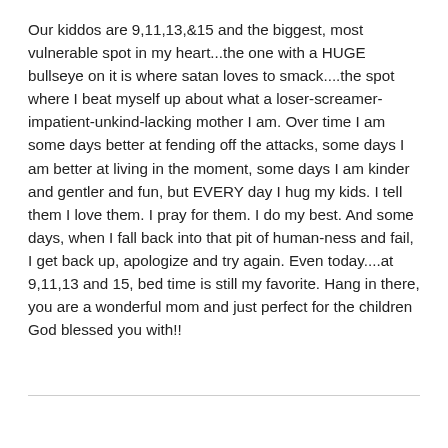Our kiddos are 9,11,13,&15 and the biggest, most vulnerable spot in my heart...the one with a HUGE bullseye on it is where satan loves to smack....the spot where I beat myself up about what a loser-screamer-impatient-unkind-lacking mother I am. Over time I am some days better at fending off the attacks, some days I am better at living in the moment, some days I am kinder and gentler and fun, but EVERY day I hug my kids. I tell them I love them. I pray for them. I do my best. And some days, when I fall back into that pit of human-ness and fail, I get back up, apologize and try again. Even today....at 9,11,13 and 15, bed time is still my favorite. Hang in there, you are a wonderful mom and just perfect for the children God blessed you with!!